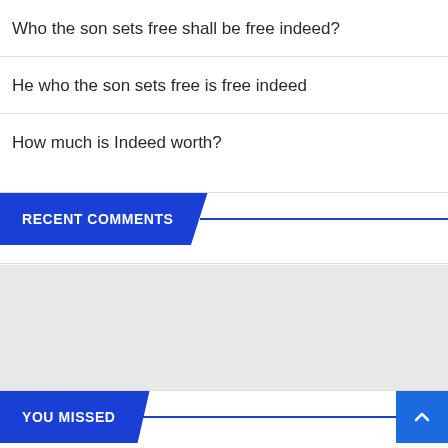Who the son sets free shall be free indeed?
He who the son sets free is free indeed
How much is Indeed worth?
RECENT COMMENTS
YOU MISSED